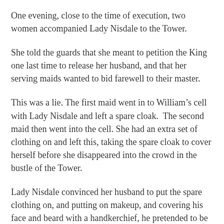One evening, close to the time of execution, two women accompanied Lady Nisdale to the Tower.
She told the guards that she meant to petition the King one last time to release her husband, and that her serving maids wanted to bid farewell to their master.
This was a lie. The first maid went in to William’s cell with Lady Nisdale and left a spare cloak.  The second maid then went into the cell. She had an extra set of clothing on and left this, taking the spare cloak to cover herself before she disappeared into the crowd in the bustle of the Tower.
Lady Nisdale convinced her husband to put the spare clothing on, and putting on makeup, and covering his face and beard with a handkerchief, he pretended to be